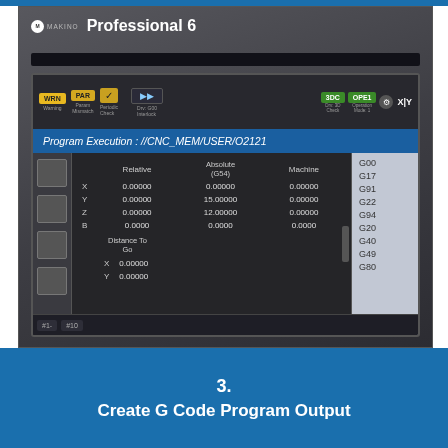[Figure (screenshot): CNC machine control panel screenshot showing Makino Professional 6 interface with Program Execution screen displaying coordinate data (Relative, Absolute G54, Machine) for axes X, Y, Z, B and Distance To Go values, with G-code list on the right (G00, G17, G91, G22, G94, G20, G40, G49, G80)]
3.
Create G Code Program Output